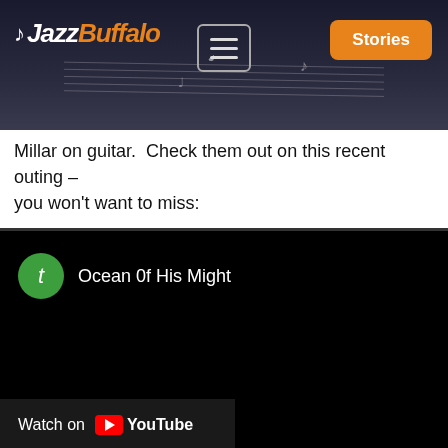JazzBuffalo — Stories
Millar on guitar.  Check them out on this recent outing – you won't want to miss:
[Figure (screenshot): Embedded YouTube video player with black background showing 'Ocean 0f His Might' title with green avatar circle containing letter 't', and a 'Watch on YouTube' bar at the bottom left.]